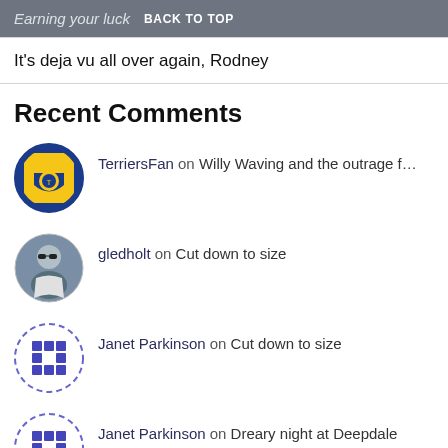Earning your luck  BACK TO TOP
It’s deja vu all over again, Rodney
Recent Comments
TerriersFan on Willy Waving and the outrage f…
gledholt on Cut down to size
Janet Parkinson on Cut down to size
Janet Parkinson on Dreary night at Deepdale